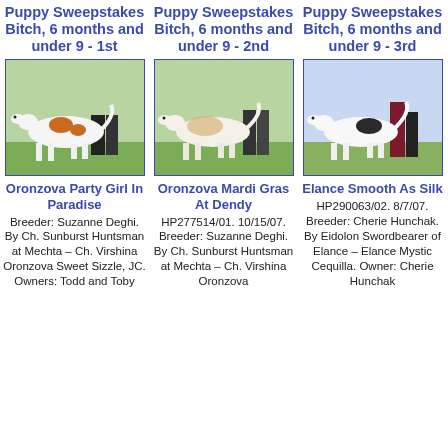Puppy Sweepstakes Bitch, 6 months and under 9 - 1st
[Figure (photo): White and brown/orange spotted dog standing in profile at a dog show]
Oronzova Party Girl In Paradise
Breeder: Suzanne Deghi. By Ch. Sunburst Huntsman at Mechta – Ch. Virshina Oronzova Sweet Sizzle, JC. Owners: Todd and Toby
Puppy Sweepstakes Bitch, 6 months and under 9 - 2nd
[Figure (photo): White and tan/brindle dog standing in profile at a dog show]
Oronzova Mardi Gras At Dendy
HP277514/01. 10/15/07. Breeder: Suzanne Deghi. By Ch. Sunburst Huntsman at Mechta – Ch. Virshina Oronzova
Puppy Sweepstakes Bitch, 6 months and under 9 - 3rd
[Figure (photo): White dog with black spots standing in profile at a dog show]
Elance Smooth As Silk
HP290063/02. 8/7/07. Breeder: Cherie Hunchak. By Eidolon Swordbearer of Elance – Elance Mystic Cequilla. Owner: Cherie Hunchak